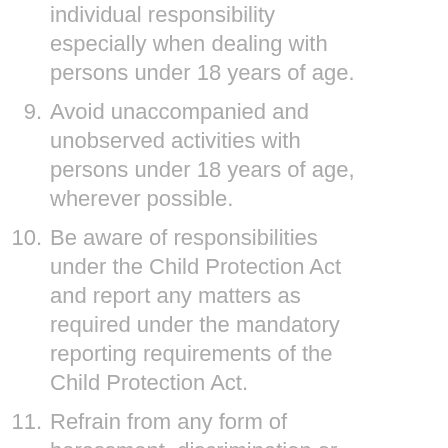individual responsibility especially when dealing with persons under 18 years of age.
9. Avoid unaccompanied and unobserved activities with persons under 18 years of age, wherever possible.
10. Be aware of responsibilities under the Child Protection Act and report any matters as required under the mandatory reporting requirements of the Child Protection Act.
11. Refrain from any form of harassment, discrimination or racial vilification of others.
12. Refrain from any behaviour that may bring Sutherland Titans FC an affiliated club or football into disrepute.
13. Provide a safe environment for the conduct of the activity.